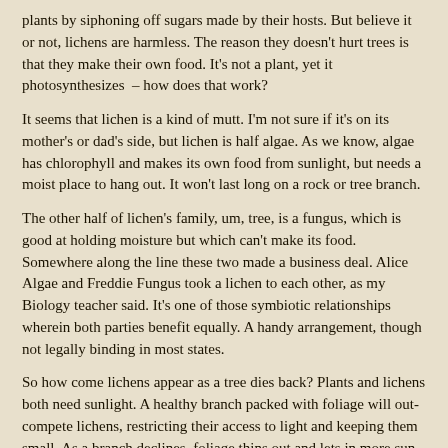plants by siphoning off sugars made by their hosts. But believe it or not, lichens are harmless. The reason they doesn't hurt trees is that they make their own food. It's not a plant, yet it photosynthesizes – how does that work?
It seems that lichen is a kind of mutt. I'm not sure if it's on its mother's or dad's side, but lichen is half algae. As we know, algae has chlorophyll and makes its own food from sunlight, but needs a moist place to hang out. It won't last long on a rock or tree branch.
The other half of lichen's family, um, tree, is a fungus, which is good at holding moisture but which can't make its food. Somewhere along the line these two made a business deal. Alice Algae and Freddie Fungus took a lichen to each other, as my Biology teacher said. It's one of those symbiotic relationships wherein both parties benefit equally. A handy arrangement, though not legally binding in most states.
So how come lichens appear as a tree dies back? Plants and lichens both need sunlight. A healthy branch packed with foliage will out-compete lichens, restricting their access to light and keeping them small. As a branch declines, foliage thins out and lets in more sun, and lichens grow tremendously. They're victims of circumstance.
This dynamic can be seen on a small scale each fall after deciduous trees shed their leaves. Over the winter lichens grow slightly, expanding when daytime temperatures get above freezing. In the spring they shrink back as leaves again overtake them.
When something looks obvious you may feel silly looking for other causes.